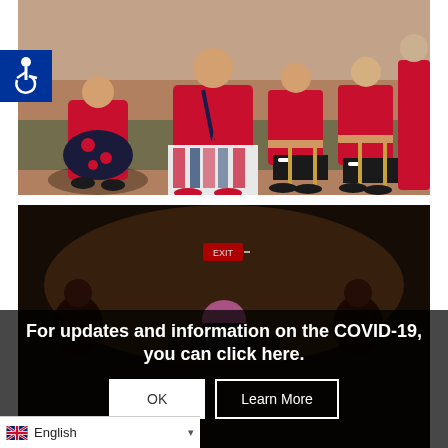[Figure (photo): Group of women dressed in red attire seated and standing in a conference/banquet hall setting, some wearing lanyards and name badges.]
[Figure (photo): A person standing at a podium or table in a darkened conference room, with others seated in the background.]
For updates and information on the COVID-19, you can click here.
OK
Learn More
English